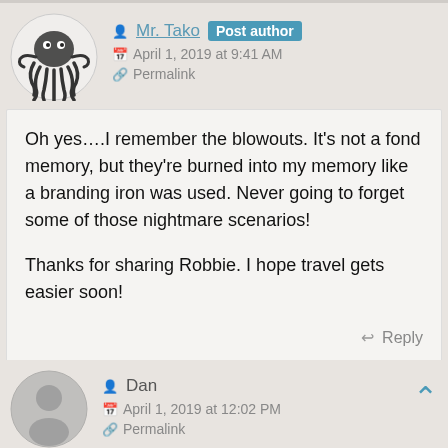[Figure (illustration): Octopus avatar/logo for user Mr. Tako]
Mr. Tako  Post author
April 1, 2019 at 9:41 AM
Permalink
Oh yes….I remember the blowouts. It's not a fond memory, but they're burned into my memory like a branding iron was used. Never going to forget some of those nightmare scenarios!

Thanks for sharing Robbie. I hope travel gets easier soon!
Reply
[Figure (illustration): Generic gray user avatar silhouette for user Dan]
Dan
April 1, 2019 at 12:02 PM
Permalink